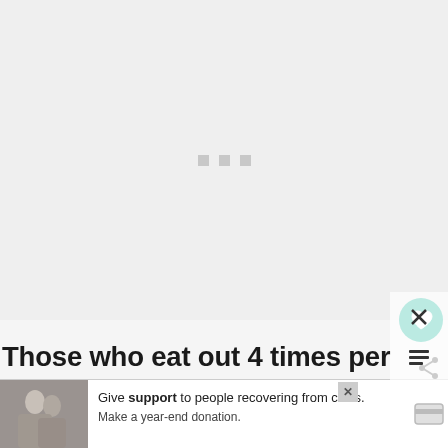[Figure (other): Loading placeholder area with three small grey squares/dots centered on a light grey background]
[Figure (other): Circular teal heart/favorite button icon visible at right side]
Those who eat out 4 times per MONTH are looked at with envy by others. Eat out 4 or
[Figure (photo): Photo of two people (couple) partially visible at bottom left behind advertisement banner]
[Figure (other): Advertisement banner: Give support to people recovering from crisis. Make a year-end donation. With close X button and credit card icon.]
5 t...ole...n
Ro...w